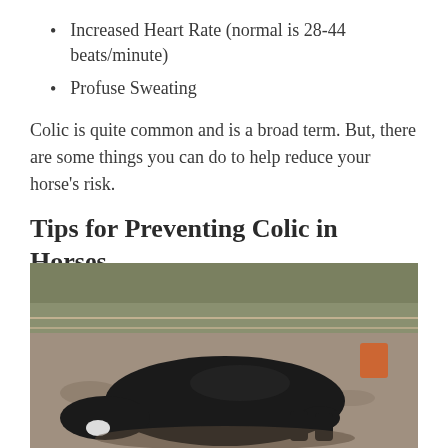Increased Heart Rate (normal is 28-44 beats/minute)
Profuse Sweating
Colic is quite common and is a broad term. But, there are some things you can do to help reduce your horse's risk.
Tips for Preventing Colic in Horses
[Figure (photo): A black horse lying on its side on the ground outdoors, appearing to be in distress, with a wire fence and brown debris visible in the background.]